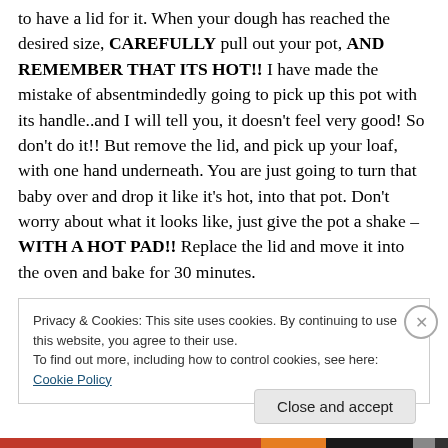to have a lid for it. When your dough has reached the desired size, CAREFULLY pull out your pot, AND REMEMBER THAT ITS HOT!! I have made the mistake of absentmindedly going to pick up this pot with its handle..and I will tell you, it doesn't feel very good! So don't do it!! But remove the lid, and pick up your loaf, with one hand underneath. You are just going to turn that baby over and drop it like it's hot, into that pot. Don't worry about what it looks like, just give the pot a shake – WITH A HOT PAD!! Replace the lid and move it into the oven and bake for 30 minutes.
Privacy & Cookies: This site uses cookies. By continuing to use this website, you agree to their use.
To find out more, including how to control cookies, see here: Cookie Policy
Close and accept